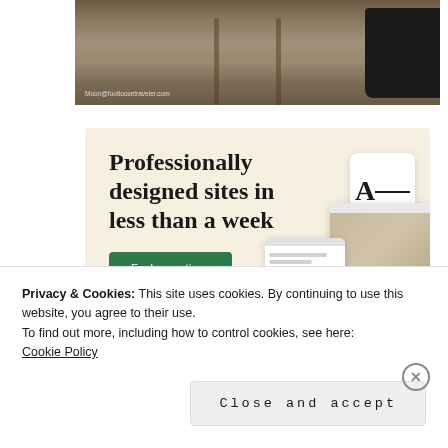[Figure (photo): Dirt road/track viewed from inside a vehicle with side mirror visible on right. Watermark text: Moon@footloosetraveler.com]
[Figure (screenshot): Advertisement banner with beige background. Headline: 'Professionally designed sites in less than a week'. Green 'Explore options' button. Website mockup images on the right side.]
Privacy & Cookies: This site uses cookies. By continuing to use this website, you agree to their use.
To find out more, including how to control cookies, see here:
Cookie Policy
Close and accept